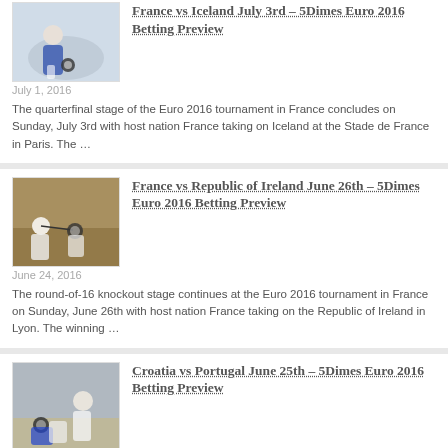France vs Iceland July 3rd – 5Dimes Euro 2016 Betting Preview
July 1, 2016
The quarterfinal stage of the Euro 2016 tournament in France concludes on Sunday, July 3rd with host nation France taking on Iceland at the Stade de France in Paris. The …
France vs Republic of Ireland June 26th – 5Dimes Euro 2016 Betting Preview
June 24, 2016
The round-of-16 knockout stage continues at the Euro 2016 tournament in France on Sunday, June 26th with host nation France taking on the Republic of Ireland in Lyon. The winning …
Croatia vs Portugal June 25th – 5Dimes Euro 2016 Betting Preview
June 23, 2016
The first day of the round-of-16 knockout stage at the Euro 2016 tournament in France concludes